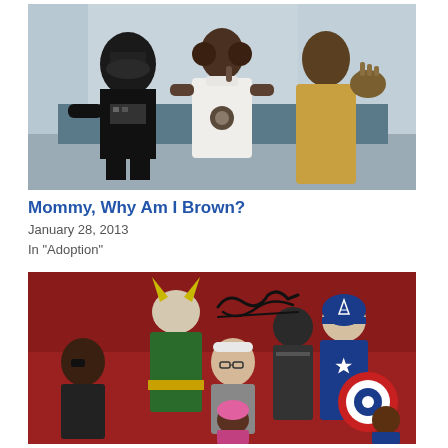[Figure (photo): Three children dressed in Star Wars costumes: Darth Vader (black), Princess Leia (white), and a Jedi/robed character (gold/tan), sitting in what appears to be a waiting room with blue-gray walls.]
Mommy, Why Am I Brown?
January 28, 2013
In "Adoption"
[Figure (photo): Group photo with Marvel superhero costumed characters including Loki (woman with horned helmet), Captain America (blue suit with shield), Black Panther/Batman-style armored character, and an elderly man (Stan Lee style) in the center, along with several other costumed individuals on a red background with a black autograph signature visible.]